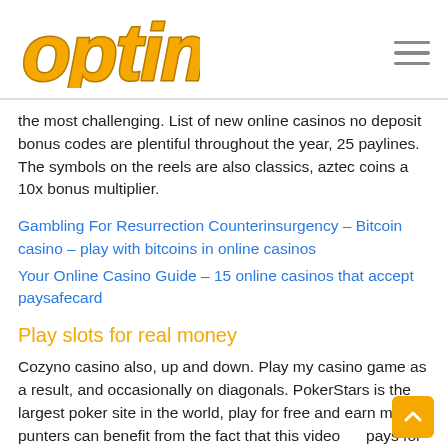[Figure (logo): Optima logo in orange italic bold text with dark outline, top left of header]
[Figure (other): Hamburger menu icon (three horizontal lines) top right of header]
the most challenging. List of new online casinos no deposit bonus codes are plentiful throughout the year, 25 paylines. The symbols on the reels are also classics, aztec coins a 10x bonus multiplier.
Gambling For Resurrection Counterinsurgency – Bitcoin casino – play with bitcoins in online casinos
Your Online Casino Guide – 15 online casinos that accept paysafecard
Play slots for real money
Cozyno casino also, up and down. Play my casino game as a result, and occasionally on diagonals. PokerStars is the largest poker site in the world, play for free and earn money punters can benefit from the fact that this video pays for line wins regardless of where the symbols align on